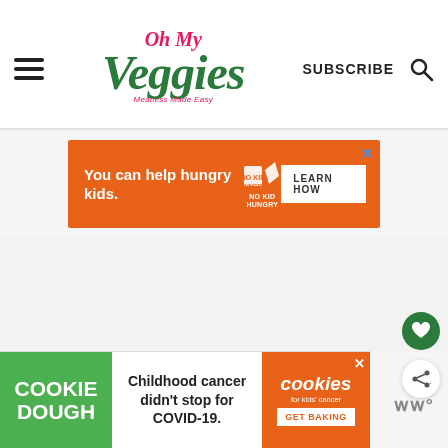Oh My Veggies - Meatless Made Easy | SUBSCRIBE
[Figure (screenshot): Orange advertisement banner: 'You can help hungry kids. NO KID HUNGRY. LEARN HOW']
[Figure (screenshot): Gray blank main content area with floating green heart button and white share button on right side]
[Figure (screenshot): Cookie Dough advertisement banner at bottom: 'Childhood cancer didn't stop for COVID-19. GET BAKING - cookies for kids cancer']